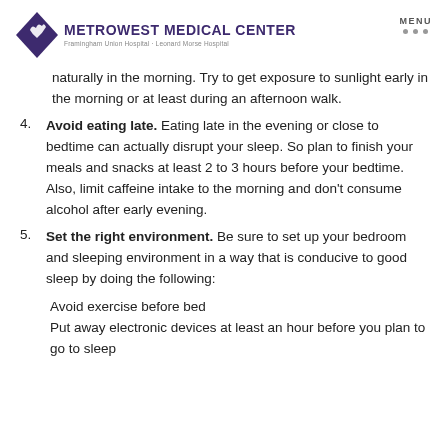MetroWest Medical Center | Framingham Union Hospital · Leonard Morse Hospital | MENU
naturally in the morning. Try to get exposure to sunlight early in the morning or at least during an afternoon walk.
4. Avoid eating late. Eating late in the evening or close to bedtime can actually disrupt your sleep. So plan to finish your meals and snacks at least 2 to 3 hours before your bedtime. Also, limit caffeine intake to the morning and don't consume alcohol after early evening.
5. Set the right environment. Be sure to set up your bedroom and sleeping environment in a way that is conducive to good sleep by doing the following:
Avoid exercise before bed
Put away electronic devices at least an hour before you plan to go to sleep